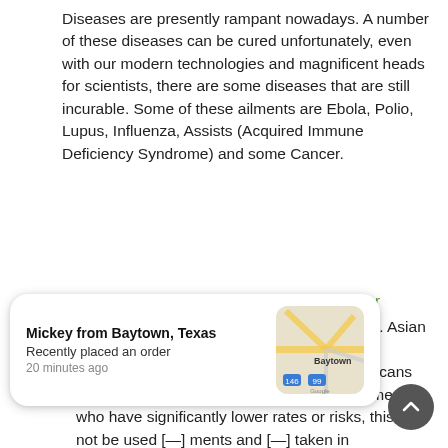Diseases are presently rampant nowadays. A number of these diseases can be cured unfortunately, even with our modern technologies and magnificent heads for scientists, there are some diseases that are still incurable. Some of these ailments are Ebola, Polio, Lupus, Influenza, Assists (Acquired Immune Deficiency Syndrome) and some Cancer.
26. Men and Prostate Cancer by Sabina Chaser
Prostate cancer is actually present with men. Asian and Native American males have low rates regarding prostate cancer while Africa Americans have the highest risk. Though you can find men who have significantly lower rates or risks, this will not be used [...]ments and [...] taken in
[Figure (screenshot): Notification popup: 'Mickey from Baytown, Texas — Recently placed an order — 20 minutes ago' with a small map showing Baytown area roads and a circular scroll-to-top button in the bottom right.]